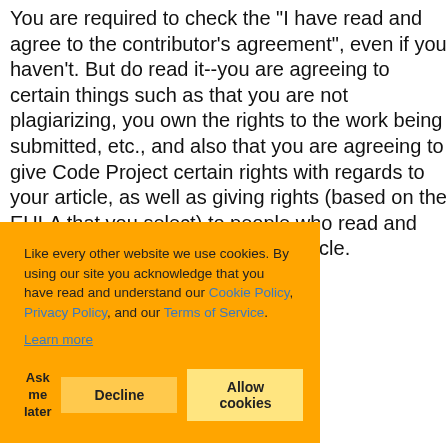You are required to check the "I have read and agree to the contributor's agreement", even if you haven't. But do read it--you are agreeing to certain things such as that you are not plagiarizing, you own the rights to the work being submitted, etc., and also that you are agreeing to give Code Project certain rights with regards to your article, as well as giving rights (based on the EULA that you select) to people who read and potentially use the code in your article.
Like every other website we use cookies. By using our site you acknowledge that you have read and understand our Cookie Policy, Privacy Policy, and our Terms of Service. Learn more
Ask me later | Decline | Allow cookies